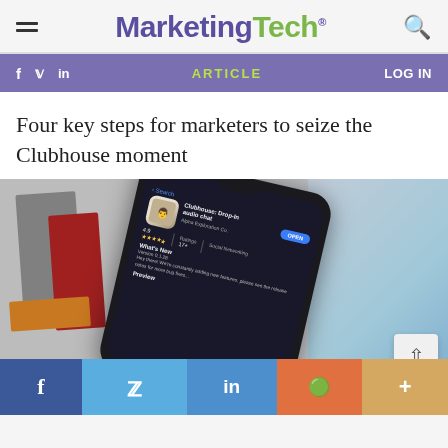MarketingTech
ARTICLE  LOG IN
Four key steps for marketers to seize the Clubhouse moment
[Figure (photo): A smartphone displaying the Clubhouse: Drop-In audio chat app on the App Store, showing the app icon, 4.9 star rating, What's New section, and Preview section. The phone is angled diagonally and sits on top of blurred books and magazines in the background.]